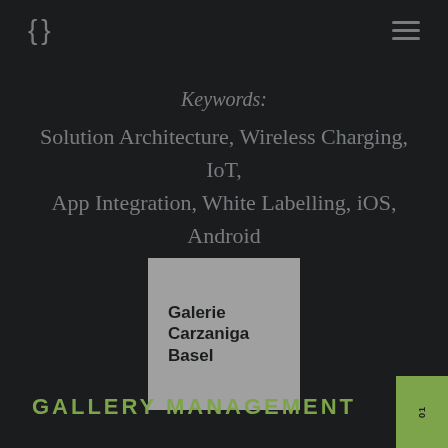{} ≡
Keywords:
Solution Architecture, Wireless Charging, IoT, App Integration, White Labelling, iOS, Android
[Figure (logo): Galerie Carzaniga Basel logo on grey background]
GALLERY MANAGEMENT